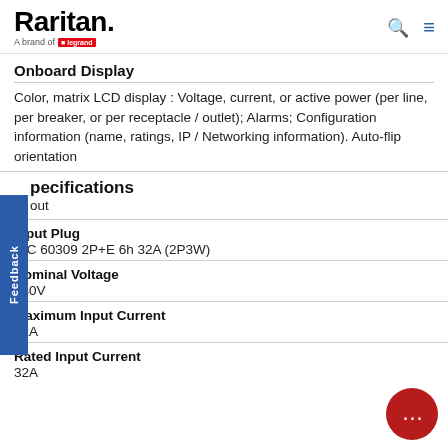Raritan. A brand of Legrand
Onboard Display
Color, matrix LCD display : Voltage, current, or active power (per line, per breaker, or per receptacle / outlet); Alarms; Configuration information (name, ratings, IP / Networking information). Auto-flip orientation
Specifications
out
| Specification | Value |
| --- | --- |
| Input Plug | IEC 60309 2P+E 6h 32A (2P3W) |
| Nominal Voltage | 230V |
| Maximum Input Current | 32A |
| Rated Input Current | 32A |